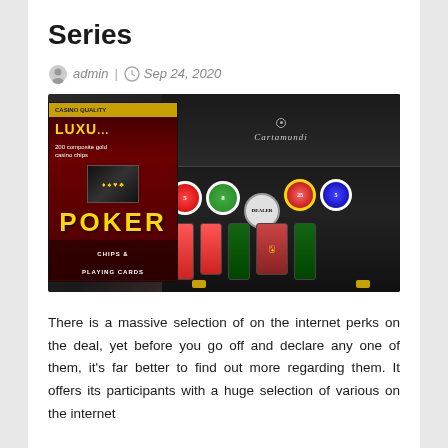Series
admin | Sep 24, 2020
[Figure (photo): Poker chips and playing cards set with Cartamundi luxury case and poker box packaging. Shows a black wooden case open with red, green, blue and white poker chips arranged inside, a dealer chip, and poker playing cards. Next to the case is a red poker chips and playing cards box labeled 'POKER CHIPS & PLAYING CARDS' and 'LUXU'.]
There is a massive selection of on the internet perks on the deal, yet before you go off and declare any one of them, it's far better to find out more regarding them. It offers its participants with a huge selection of various on the internet